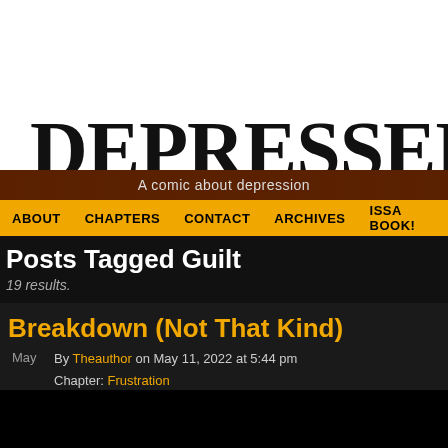DEPRESSED DAVE
A comic about depression
ABOUT   CHAPTERS   CONTACT   ARCHIVES   ISSA BOOK!
Posts Tagged Guilt
19 results.
Breakdown (Not That Kind)
May  By Theauthor on May 11, 2022 at 5:44 pm  Chapter: Frustration